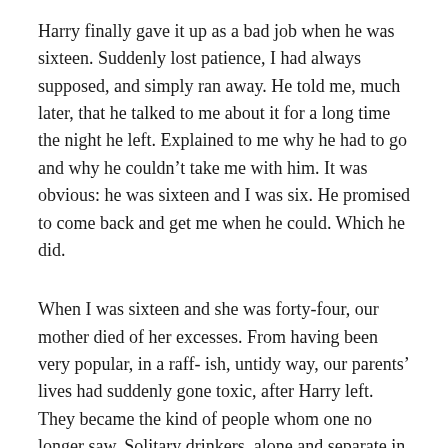Harry finally gave it up as a bad job when he was sixteen. Suddenly lost patience, I had always supposed, and simply ran away. He told me, much later, that he talked to me about it for a long time the night he left. Explained to me why he had to go and why he couldn't take me with him. It was obvious: he was sixteen and I was six. He promised to come back and get me when he could. Which he did.
When I was sixteen and she was forty-four, our mother died of her excesses. From having been very popular, in a raff- ish, untidy way, our parents' lives had suddenly gone toxic, after Harry left. They became the kind of people whom one no longer saw. Solitary drinkers, alone and separate in that big house. Some people were surprised that a woman that young and attractive should drink herself to death. I was not surprised. I thought that's exactly what she had in mind. Our father died a year later, in similar circumstances. I don't know what he had in mind.